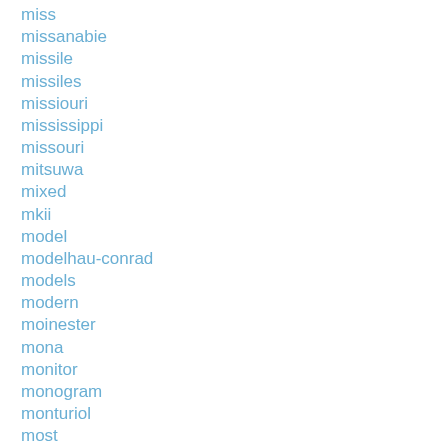miss
missanabie
missile
missiles
missiouri
mississippi
missouri
mitsuwa
mixed
mkii
model
modelhau-conrad
models
modern
moinester
mona
monitor
monogram
monturiol
most
motion
motorart